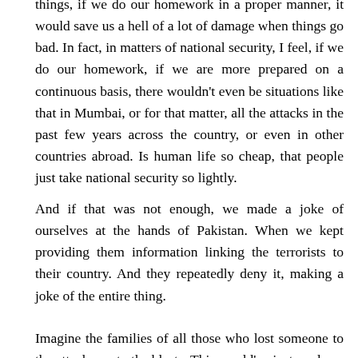things, if we do our homework in a proper manner, it would save us a hell of a lot of damage when things go bad. In fact, in matters of national security, I feel, if we do our homework, if we are more prepared on a continuous basis, there wouldn't even be situations like that in Mumbai, or for that matter, all the attacks in the past few years across the country, or even in other countries abroad. Is human life so cheap, that people just take national security so lightly.
And if that was not enough, we made a joke of ourselves at the hands of Pakistan. When we kept providing them information linking the terrorists to their country. And they repeatedly deny it, making a joke of the entire thing.
Imagine the families of all those who lost someone to the attacks, or to the blasts. This would've just made